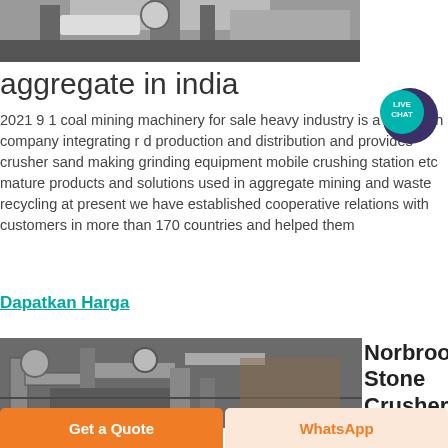[Figure (photo): Industrial crushing/mining machinery at top of page]
aggregate in india
[Figure (illustration): Live Chat speech bubble icon, teal/dark blue colors]
2021 9 1 coal mining machinery for sale heavy industry is a high tech company integrating r d production and distribution and provides crusher sand making grinding equipment mobile crushing station etc mature products and solutions used in aggregate mining and waste recycling at present we have established cooperative relations with customers in more than 170 countries and helped them
Dapatkan Harga
[Figure (photo): Industrial stone crusher / piping machinery photograph]
Norbrook Stone Crushers
Get a Quote
WhatsApp